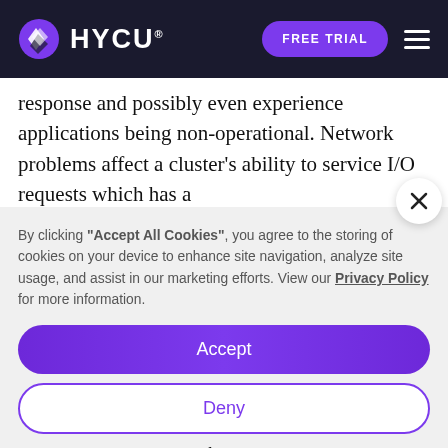[Figure (logo): HYCU logo with purple shield/checkmark icon and white HYCU text on dark navy background, with FREE TRIAL button and hamburger menu]
response and possibly even experience applications being non-operational. Network problems affect a cluster's ability to service I/O requests which has a
By clicking "Accept All Cookies", you agree to the storing of cookies on your device to enhance site navigation, analyze site usage, and assist in our marketing efforts. View our Privacy Policy for more information.
Accept
Deny
Preferences